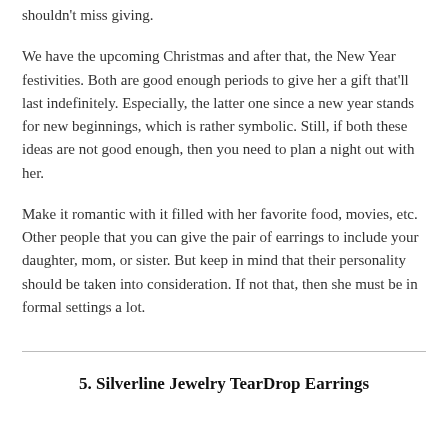shouldn't miss giving.
We have the upcoming Christmas and after that, the New Year festivities. Both are good enough periods to give her a gift that'll last indefinitely. Especially, the latter one since a new year stands for new beginnings, which is rather symbolic. Still, if both these ideas are not good enough, then you need to plan a night out with her.
Make it romantic with it filled with her favorite food, movies, etc. Other people that you can give the pair of earrings to include your daughter, mom, or sister. But keep in mind that their personality should be taken into consideration. If not that, then she must be in formal settings a lot.
5. Silverline Jewelry TearDrop Earrings